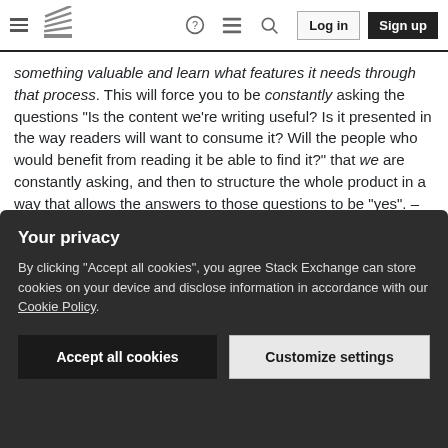Stack Exchange navigation bar with hamburger menu, logo, help, chat, search icons, Log in and Sign up buttons
something valuable and learn what features it needs through that process. This will force you to be constantly asking the questions "Is the content we're writing useful? Is it presented in the way readers will want to consume it? Will the people who would benefit from reading it be able to find it?" that we are constantly asking, and then to structure the whole product in a way that allows the answers to those questions to be "yes". – Mark Amery May 19, 2017 at 10:55
8 @JonEricson By contrast, your old approach seemed, from the outside, to broadly be "We picked a bunch of functionality, stitched it together at random, and
[Figure (screenshot): Privacy cookie consent overlay with dark background. Title: 'Your privacy'. Body text about accepting cookies with link to Cookie Policy. Two buttons: 'Accept all cookies' (dark) and 'Customize settings' (light).]
@Tyler This type of answer isn't noise in this context, because it indicates the number of people that agree